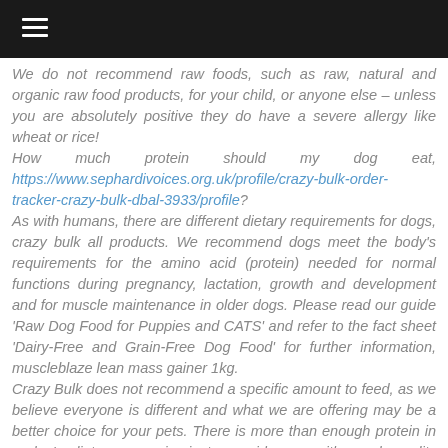≡
We do not recommend raw foods, such as raw, natural and organic raw food products, for your child, or anyone else – unless you are absolutely positive they do have a severe allergy like wheat or rice! How much protein should my dog eat, https://www.sephardivoices.org.uk/profile/crazy-bulk-order-tracker-crazy-bulk-dbal-3933/profile? As with humans, there are different dietary requirements for dogs, crazy bulk all products. We recommend dogs meet the body's requirements for the amino acid (protein) needed for normal functions during pregnancy, lactation, growth and development and for muscle maintenance in older dogs. Please read our guide 'Raw Dog Food for Puppies and CATS' and refer to the fact sheet 'Dairy-Free and Grain-Free Dog Food' for further information, muscleblaze lean mass gainer 1kg. Crazy Bulk does not recommend a specific amount to feed, as we believe everyone is different and what we are offering may be a better choice for your pets. There is more than enough protein in a dog's diet so our aim is to provide you with good, quality products that meet